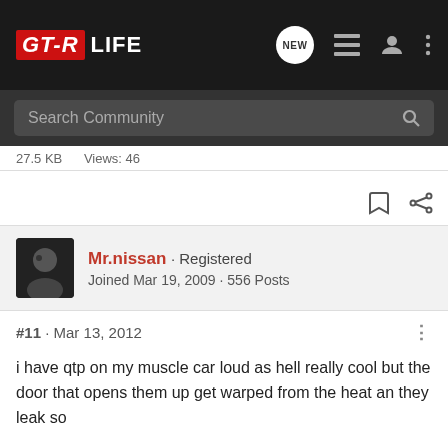GT-R LIFE
Search Community
27.5 KB   Views: 46
Mr.nissan · Registered
Joined Mar 19, 2009 · 556 Posts
#11 · Mar 13, 2012
i have qtp on my muscle car loud as hell really cool but the door that opens them up get warped from the heat an they leak so

for gtr